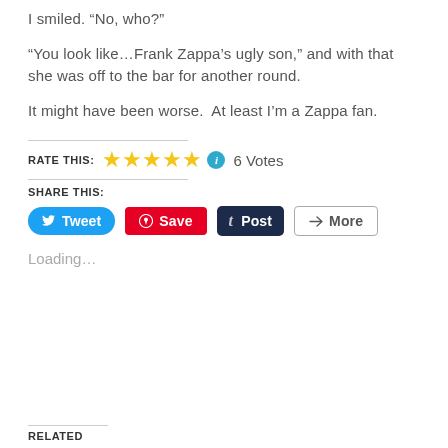I smiled. “No, who?”
“You look like…Frank Zappa’s ugly son,” and with that she was off to the bar for another round.
It might have been worse. At least I’m a Zappa fan.
RATE THIS: ★★★★★ ⓘ 6 Votes
SHARE THIS:
Tweet  Save  Post  More
Loading...
RELATED